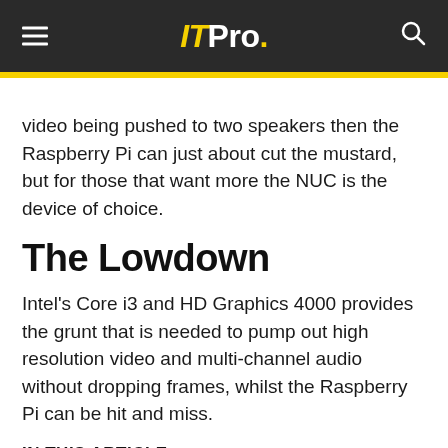IT Pro.
video being pushed to two speakers then the Raspberry Pi can just about cut the mustard, but for those that want more the NUC is the device of choice.
The Lowdown
Intel's Core i3 and HD Graphics 4000 provides the grunt that is needed to pump out high resolution video and multi-channel audio without dropping frames, whilst the Raspberry Pi can be hit and miss.
IN THIS ARTICLE